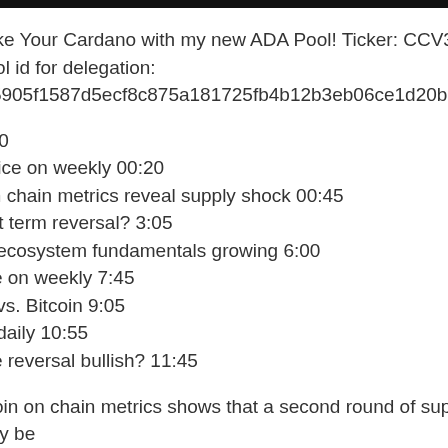⚡⚡Stake Your Cardano with my new ADA Pool! Ticker: CCV3
CCV3 pool id for delegation:
903c38e5905f1587d5ecf8c875a181725fb4b12b3eb06ce1d20bb1c6
Intro 00:00
Bitcoin price on weekly 00:20
Bitcoin on chain metrics reveal supply shock 00:45
BTC short term reversal? 3:05
Cardano ecosystem fundamentals growing 6:00
ADA price on weekly 7:45
Cardano vs. Bitcoin 9:05
Cardano daily 10:55
ADA price reversal bullish? 11:45
New Bitcoin on chain metrics shows that a second round of supply shock may be